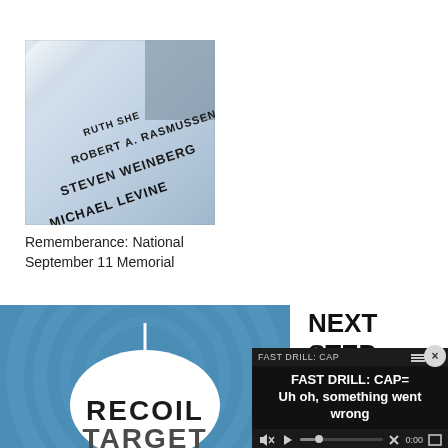[Figure (photo): Photo of a 9/11 memorial stone with engraved names including Ruth Shea, Robert A. Rasmussen, Steven Weinberg, Michael Levine]
Rememberance: National September 11 Memorial
[Figure (logo): Recoil Target magazine logo on blue background with target circles]
NEXT STEP:
[Figure (screenshot): Video player overlay showing FAST DRILL: CAP= with error message 'Uh oh, something went wrong' and playback controls showing 0:00]